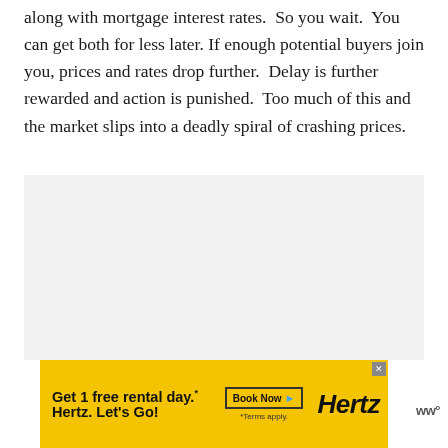along with mortgage interest rates.  So you wait.  You can get both for less later. If enough potential buyers join you, prices and rates drop further.  Delay is further rewarded and action is punished.  Too much of this and the market slips into a deadly spiral of crashing prices.
[Figure (other): Gray placeholder content area with three small gray dots centered in the lower portion, indicating loading or ad content area]
[Figure (other): Hertz advertisement banner: yellow background with text 'Get 1 free rental day.* Hertz. Let’s Go!' and 'Book Now' button with arrow, '*Terms apply.' note, and Hertz logo in black italic text]